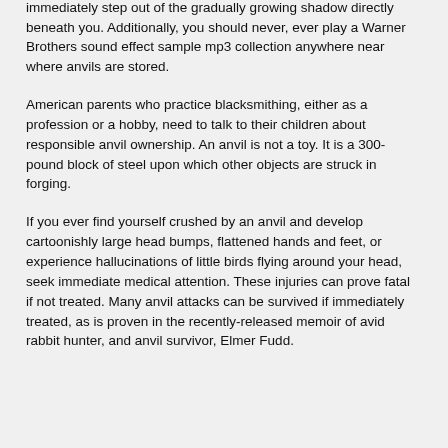and regularly checked for mouse holes. If you ever hear a high-pitched whistle above your head, it is imperative that you immediately step out of the gradually growing shadow directly beneath you. Additionally, you should never, ever play a Warner Brothers sound effect sample mp3 collection anywhere near where anvils are stored.
American parents who practice blacksmithing, either as a profession or a hobby, need to talk to their children about responsible anvil ownership. An anvil is not a toy. It is a 300-pound block of steel upon which other objects are struck in forging.
If you ever find yourself crushed by an anvil and develop cartoonishly large head bumps, flattened hands and feet, or experience hallucinations of little birds flying around your head, seek immediate medical attention. These injuries can prove fatal if not treated. Many anvil attacks can be survived if immediately treated, as is proven in the recently-released memoir of avid rabbit hunter, and anvil survivor, Elmer Fudd.